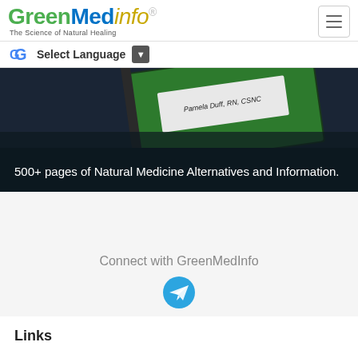GreenMedInfo — The Science of Natural Healing
[Figure (screenshot): Google Translate language selector bar with 'Select Language' text and dropdown arrow]
[Figure (photo): Hero image of a green spiral-bound book with text 'Pamela Duff, RN, CSNC' on a dark background]
500+ pages of Natural Medicine Alternatives and Information.
Connect with GreenMedInfo
[Figure (logo): Telegram icon button (blue circle with white paper plane)]
Links
About Us
Contact Us